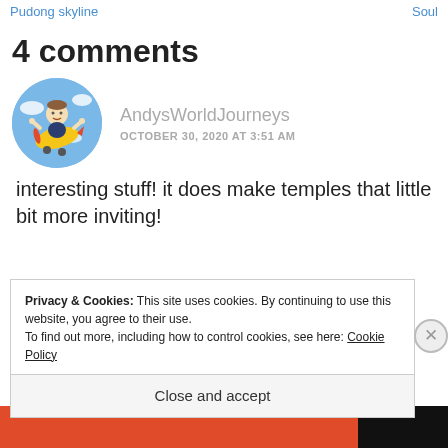Pudong skyline   Soul
4 comments
[Figure (illustration): Circular avatar of AndysWorldJourneys showing a cartoon of a person riding a yellow toy airplane in a blue sky]
AndysWorldJourneys
OCTOBER 30, 2020 AT 3:51 AM
interesting stuff! it does make temples that little bit more inviting!
Privacy & Cookies: This site uses cookies. By continuing to use this website, you agree to their use.
To find out more, including how to control cookies, see here: Cookie Policy
Close and accept